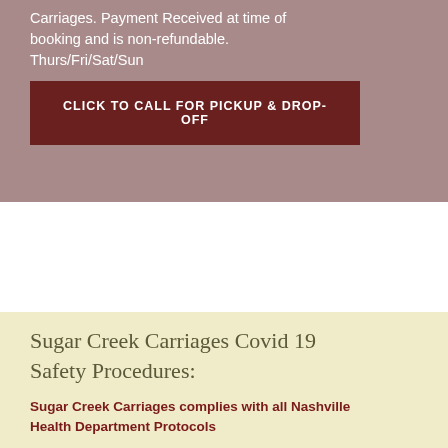Carriages. Payment Received at time of booking and is non-refundable. Thurs/Fri/Sat/Sun
CLICK TO CALL FOR PICKUP & DROP-OFF
Sugar Creek Carriages Covid 19 Safety Procedures:
Sugar Creek Carriages complies with all Nashville Health Department Protocols